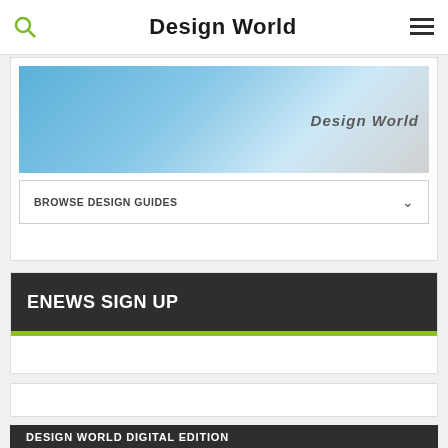Design World
[Figure (screenshot): Design World banner image with blue background and 'Design World' text in gray]
BROWSE DESIGN GUIDES
ENEWS SIGN UP
DESIGN WORLD DIGITAL EDITION